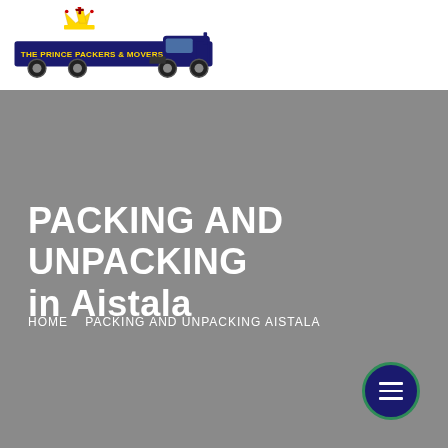[Figure (logo): The Prince Packers & Movers logo with a crown icon above a dark blue semi-truck with yellow text banner reading THE PRINCE PACKERS & MOVERS]
PACKING AND UNPACKING in Aistala
HOME   PACKING AND UNPACKING AISTALA